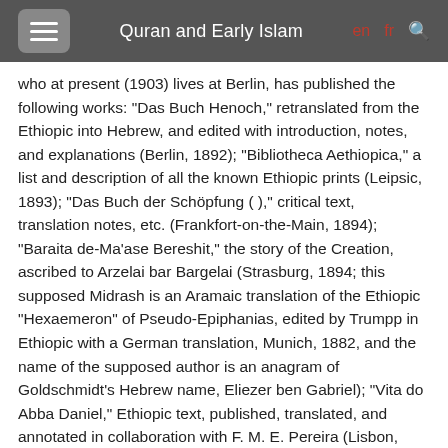Quran and Early Islam
who at present (1903) lives at Berlin, has published the following works: "Das Buch Henoch," retranslated from the Ethiopic into Hebrew, and edited with introduction, notes, and explanations (Berlin, 1892); "Bibliotheca Aethiopica," a list and description of all the known Ethiopic prints (Leipsic, 1893); "Das Buch der Schöpfung ( )," critical text, translation notes, etc. (Frankfort-on-the-Main, 1894); "Baraita de-Ma'ase Bereshit," the story of the Creation, ascribed to Arzelai bar Bargelai (Strasburg, 1894; this supposed Midrash is an Aramaic translation of the Ethiopic "Hexaemeron" of Pseudo-Epiphanias, edited by Trumpp in Ethiopic with a German translation, Munich, 1882, and the name of the supposed author is an anagram of Goldschmidt's Hebrew name, Eliezer ben Gabriel); "Vita do Abba Daniel," Ethiopic text, published, translated, and annotated in collaboration with F. M. E. Pereira (Lisbon, 1897); "Die Aethiopischen Handschriften der-Stadtbibliothek zu Frankfurt a. M." (Berlin, 1897). In the year 1896 Goldschmidt commenced the publication of the Babylonian